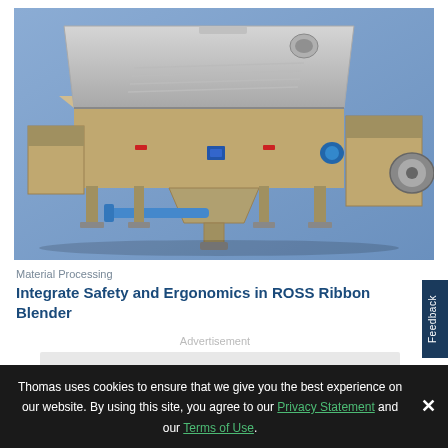[Figure (photo): A stainless steel ROSS Ribbon Blender industrial mixing machine on a blue background, showing the open top lid, ribbon agitator interior, discharge valve, and side support structure with drive motor.]
Material Processing
Integrate Safety and Ergonomics in ROSS Ribbon Blender
Advertisement
Thomas uses cookies to ensure that we give you the best experience on our website. By using this site, you agree to our Privacy Statement and our Terms of Use.